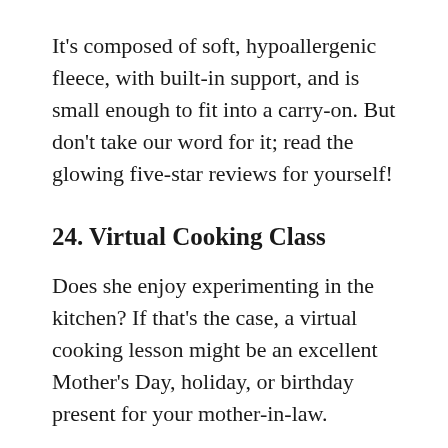It's composed of soft, hypoallergenic fleece, with built-in support, and is small enough to fit into a carry-on. But don't take our word for it; read the glowing five-star reviews for yourself!
24. Virtual Cooking Class
Does she enjoy experimenting in the kitchen? If that's the case, a virtual cooking lesson might be an excellent Mother's Day, holiday, or birthday present for your mother-in-law.
Sur la Table offers a wide range of intriguing